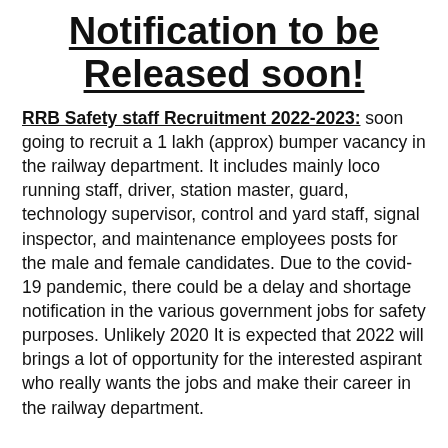Notification to be Released soon!
RRB Safety staff Recruitment 2022-2023: soon going to recruit a 1 lakh (approx) bumper vacancy in the railway department. It includes mainly loco running staff, driver, station master, guard, technology supervisor, control and yard staff, signal inspector, and maintenance employees posts for the male and female candidates. Due to the covid-19 pandemic, there could be a delay and shortage notification in the various government jobs for safety purposes. Unlikely 2020 It is expected that 2022 will brings a lot of opportunity for the interested aspirant who really wants the jobs and make their career in the railway department.